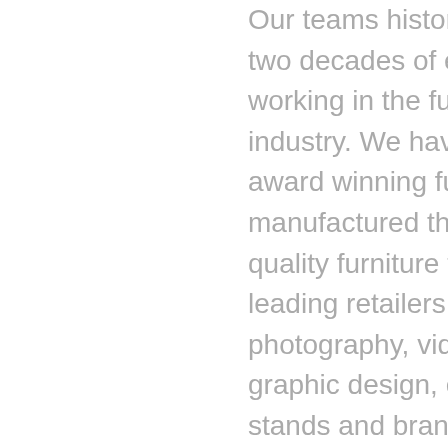Our teams history covers over two decades of experience working in the furniture industry. We have designed award winning furniture, manufactured the highest quality furniture for the UK's leading retailers and originated photography, video, print, graphic design, exhibition stands and branding guidance for many of the industry's leading brands.
We know how channel marketing works and have